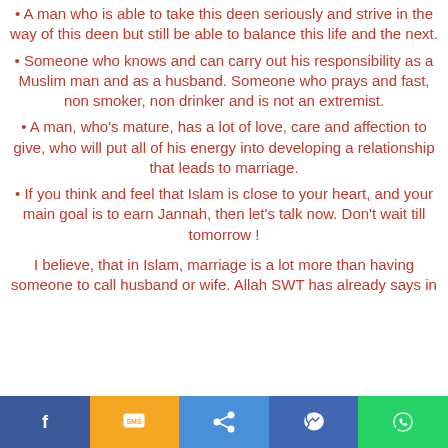• A man who is able to take this deen seriously and strive in the way of this deen but still be able to balance this life and the next.
• Someone who knows and can carry out his responsibility as a Muslim man and as a husband. Someone who prays and fast, non smoker, non drinker and is not an extremist.
• A man, who's mature, has a lot of love, care and affection to give, who will put all of his energy into developing a relationship that leads to marriage.
• If you think and feel that Islam is close to your heart, and your main goal is to earn Jannah, then let's talk now. Don't wait till tomorrow !
I believe, that in Islam, marriage is a lot more than having someone to call husband or wife. Allah SWT has already says in
Facebook | SMS | Share | Messenger | WhatsApp